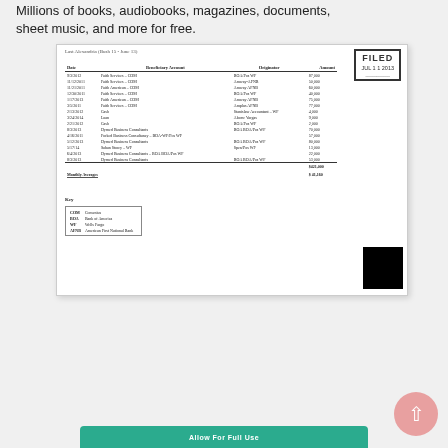Millions of books, audiobooks, magazines, documents, sheet music, and more for free.
[Figure (screenshot): Scanned legal document page showing a table of beneficiary transactions with dates, beneficiary accounts, originators, and amounts. Includes a FILED stamp dated JUL 11 2013, a key section defining abbreviations (COM, BOA, WF, AFNB), and a redacted black rectangle at the bottom right.]
[Figure (other): Teal/green button at the bottom of the page]
[Figure (other): Pink circle with upward arrow at bottom right]